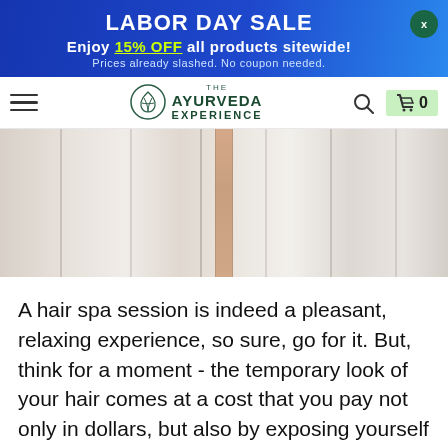LABOR DAY SALE
Enjoy 15% OFF all products sitewide!
Prices already slashed. No coupon needed.
[Figure (logo): The Ayurveda Experience logo with leaf/hand icon and navigation bar]
[Figure (photo): Close-up of white fabric folds with a thin strip of skin visible in the center]
A hair spa session is indeed a pleasant, relaxing experience, so sure, go for it. But, think for a moment - the temporary look of your hair comes at a cost that you pay not only in dollars, but also by exposing yourself to the risk that chemical treatments pose.